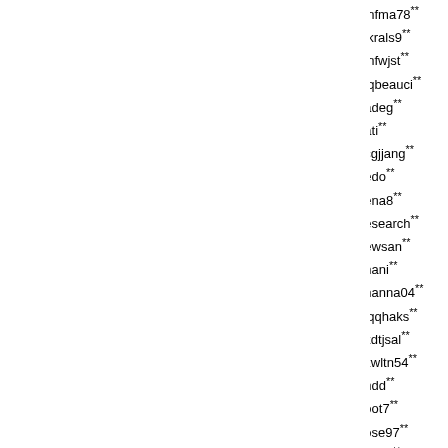cj93** hapl** kks4** qnfma78** v...
cjdjd** happy10** kmj42** qkrals9** w...
cjsqhddlf** happy1712** kng01** qnfwjst** w...
ckmds19** hapykw** kodae** qqbeauci** w...
cocteau** hee67** koje13** radeg** wh...
codud12** heily02** ksjun** rati** wl...
cokio** hiekung9** ksru** rcgjjang** wh...
colorpa** higuys** ksyonl** redo** wi...
comho** hipgirl** kwangs0** rena8** wj...
cool** hipponow20** kwcgo** research** wh...
cromk** hj72** kwpch** rewsan** wh...
cts7** ho60** kyh04** rhani** wh...
cuteyjuh** holyb** kyik11** rhanna04** wh...
dant** homer** kyj37** rjqqhaks** wh...
dark9a** hous** kyj57** rkdtjsal** wl...
dbs15** hsandwh** kyk07** rkwltn54** wl...
dbsrud47** hschoi** ldw49** rndd** wo...
dbswjdd** hsg8109** leesooyou** root7** wl...
dbwls89** hsh92** lemon30** rose97** x7...
ddfamily** htk01** lemon9** rqwrq** xe...
ddffjj** hyewon6** lhj2** ruddms03** xh...
dfind99** hyoyeon** lhkme** runaj** ya...
diaspora** hys00** lhy09** runaway** ya...
dina** hyun74** limjhg** rygm** ye...
dino12** hyung2** ljm98** sa020** yh...
disel** hyunyi06** ljy25** sagwagi** yh...
dkfma13** hyy11** lkc44** sang008** yh...